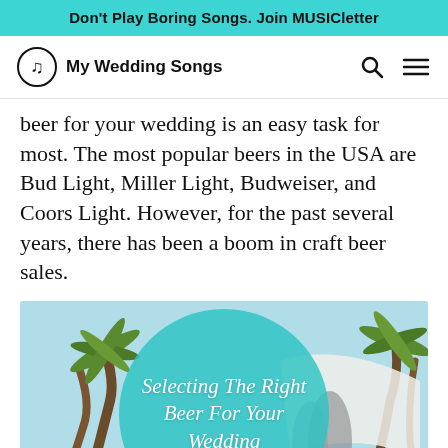Don't Play Boring Songs. Join MUSICletter
My Wedding Songs
beer for your wedding is an easy task for most. The most popular beers in the USA are Bud Light, Miller Light, Budweiser, and Coors Light. However, for the past several years, there has been a boom in craft beer sales.
[Figure (photo): Wedding scene with palm trees and couple outdoors, overlaid with a teal circular graphic reading 'Selecting The Right Beer For Your Wedding']
Selecting The Right Beer For Your Wedding